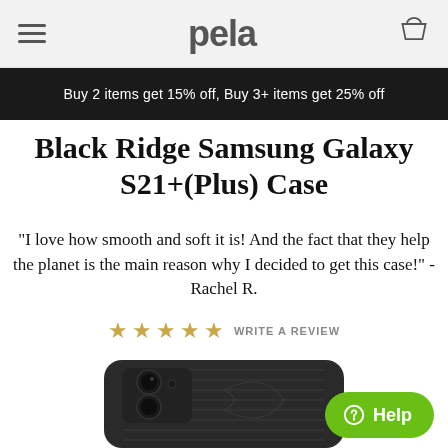pela
Buy 2 items get 15% off, Buy 3+ items get 25% off
Black Ridge Samsung Galaxy S21+(Plus) Case
"I love how smooth and soft it is! And the fact that they help the planet is the main reason why I decided to get this case!" - Rachel R.
★★★★★ WRITE A REVIEW
[Figure (photo): Dark textured Samsung Galaxy S21+ phone case (Black Ridge) shown from the back, displaying camera cutout and embossed pattern on a black case]
Help